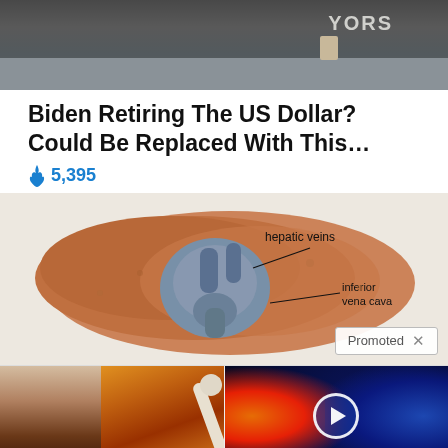[Figure (photo): Top cropped image showing people at a table, partial text 'YORS' visible, dark background with desk area]
Biden Retiring The US Dollar? Could Be Replaced With This…
🔥 5,395
[Figure (illustration): Medical anatomical illustration of liver showing hepatic veins and inferior vena cava labels, with a 'Promoted X' badge]
[Figure (photo): Left ad card image: woman's torso and a spoon with orange spice/powder]
A Teaspoon On An Empty Stomach Burns Fat Like Crazy!
🔥 123,972
[Figure (photo): Right ad card image: dark cosmic scene with fire/plasma on left, play button circle overlay, blue magnetic field swirls]
Why You Need This Strange Device When The Grid Goes Down
🔥 867